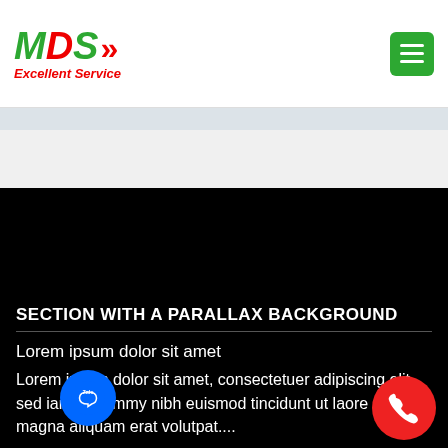[Figure (logo): MDS Excellent Service logo — MDS in large italic letters with red double-arrow chevrons, subtitle 'Excellent Service' in red italic]
[Figure (other): Green hamburger menu button in top-right corner]
SECTION WITH A PARALLAX BACKGROUND
Lorem ipsum dolor sit amet
Lorem ipsum dolor sit amet, consectetuer adipiscing elit, sed iam nonummy nibh euismod tincidunt ut laore dolor magna aliquam erat volutpat....